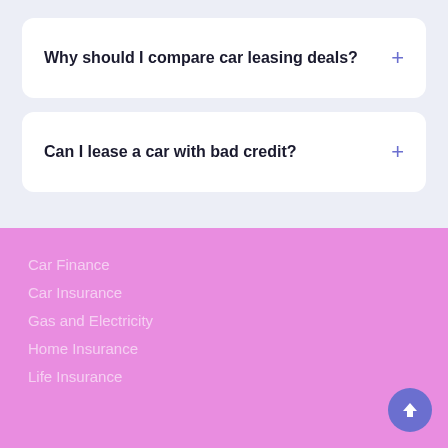Why should I compare car leasing deals?
Can I lease a car with bad credit?
Car Finance
Car Insurance
Gas and Electricity
Home Insurance
Life Insurance